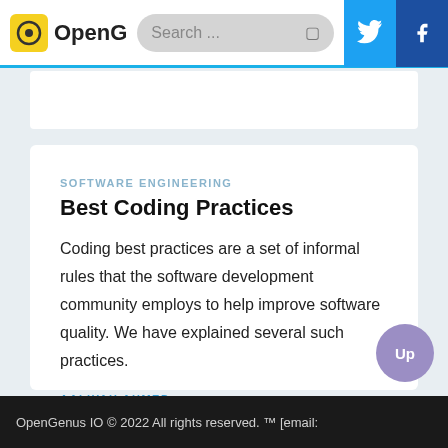OpenG | Search ...
SOFTWARE ENGINEERING
Best Coding Practices
Coding best practices are a set of informal rules that the software development community employs to help improve software quality. We have explained several such practices.
AALIYAH AHMED
OpenGenus IO © 2022 All rights reserved. ™ [email: